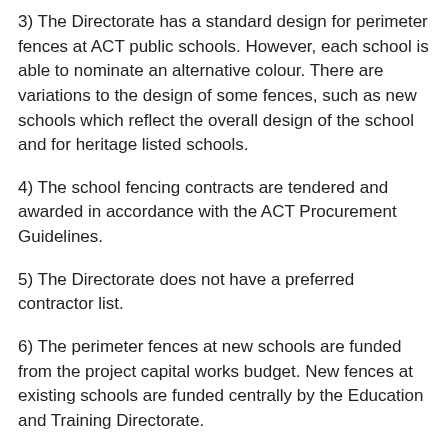3) The Directorate has a standard design for perimeter fences at ACT public schools. However, each school is able to nominate an alternative colour. There are variations to the design of some fences, such as new schools which reflect the overall design of the school and for heritage listed schools.
4) The school fencing contracts are tendered and awarded in accordance with the ACT Procurement Guidelines.
5) The Directorate does not have a preferred contractor list.
6) The perimeter fences at new schools are funded from the project capital works budget. New fences at existing schools are funded centrally by the Education and Training Directorate.